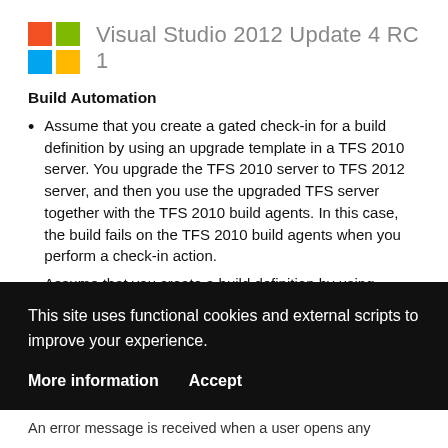[Figure (logo): Microsoft Windows logo with four colored squares: red top-left, green top-right, blue bottom-left, yellow bottom-right]
Visual Studio 2012 Update 4 RC 1
Build Automation
Assume that you create a gated check-in for a build definition by using an upgrade template in a TFS 2010 server. You upgrade the TFS 2010 server to TFS 2012 server, and then you use the upgraded TFS server together with the TFS 2010 build agents. In this case, the build fails on the TFS 2010 build agents when you perform a check-in action.
Assume that you create a build definition by using
This site uses functional cookies and external scripts to improve your experience.
More information  Accept
An error message is received when a user opens any